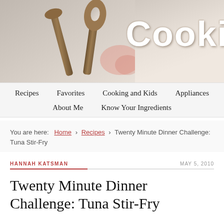[Figure (photo): Website header banner showing two wooden cooking spoons/spatulas on a light gray background with blurred food in the right, and large white bold text 'Cooki' (partially visible) on the right side]
Recipes | Favorites | Cooking and Kids | Appliances | About Me | Know Your Ingredients
You are here: Home > Recipes > Twenty Minute Dinner Challenge: Tuna Stir-Fry
HANNAH KATSMAN   MAY 5, 2010
Twenty Minute Dinner Challenge: Tuna Stir-Fry